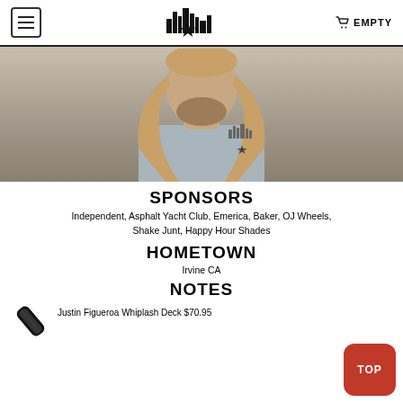EMPTY
[Figure (photo): Close-up photo of a man with long blond hair wearing a grey t-shirt with a city skyline and star logo]
SPONSORS
Independent, Asphalt Yacht Club, Emerica, Baker, OJ Wheels, Shake Junt, Happy Hour Shades
HOMETOWN
Irvine CA
NOTES
Justin Figueroa Whiplash Deck $70.95
[Figure (photo): Image of a skateboard deck product]